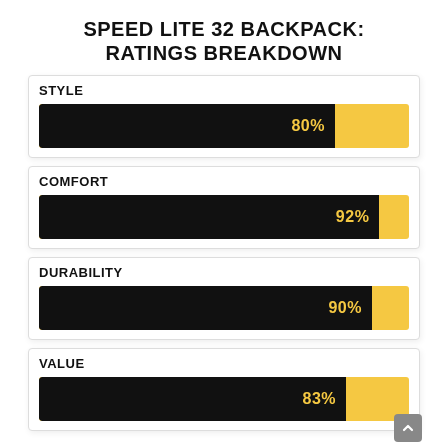SPEED LITE 32 BACKPACK: RATINGS BREAKDOWN
[Figure (bar-chart): Speed Lite 32 Backpack: Ratings Breakdown]